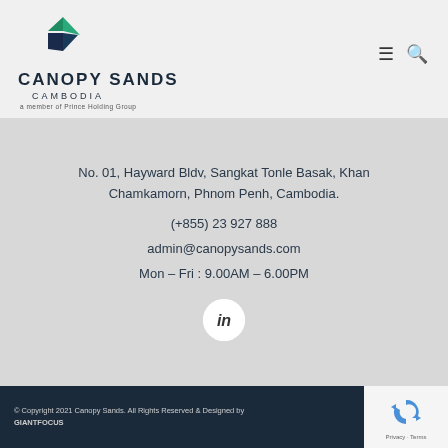[Figure (logo): Canopy Sands Cambodia logo with green and dark blue leaf/arrow shapes, text CANOPY SANDS CAMBODIA, a member of Prince Holding Group]
No. 01, Hayward Bldv, Sangkat Tonle Basak, Khan Chamkamorn, Phnom Penh, Cambodia.
(+855) 23 927 888
admin@canopysands.com
Mon – Fri : 9.00AM – 6.00PM
[Figure (logo): LinkedIn circular icon button]
© Copyright 2021 Canopy Sands. All Rights Reserved & Designed by GIANTFOCUS